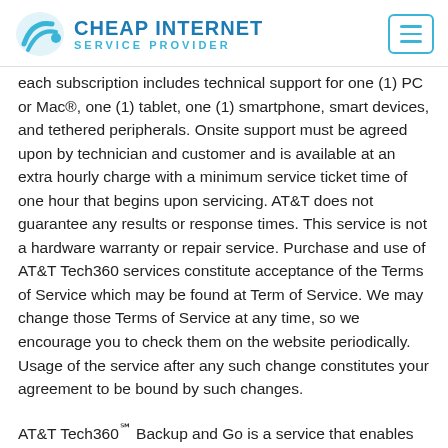CHEAP INTERNET SERVICE PROVIDER
each subscription includes technical support for one (1) PC or Mac®, one (1) tablet, one (1) smartphone, smart devices, and tethered peripherals. Onsite support must be agreed upon by technician and customer and is available at an extra hourly charge with a minimum service ticket time of one hour that begins upon servicing. AT&T does not guarantee any results or response times. This service is not a hardware warranty or repair service. Purchase and use of AT&T Tech360 services constitute acceptance of the Terms of Service which may be found at Term of Service. We may change those Terms of Service at any time, so we encourage you to check them on the website periodically. Usage of the service after any such change constitutes your agreement to be bound by such changes.
AT&T Tech360℠ Backup and Go is a service that enables the user to back up computer files (from a single personal computer excluding external storage devices)